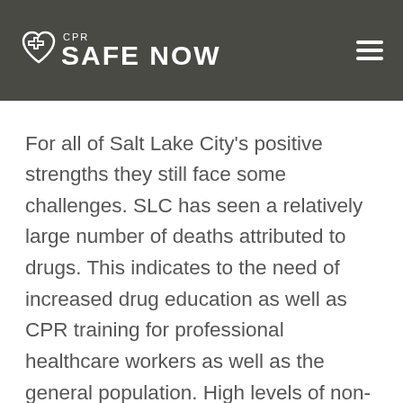CPR Safe Now
For all of Salt Lake City's positive strengths they still face some challenges. SLC has seen a relatively large number of deaths attributed to drugs. This indicates to the need of increased drug education as well as CPR training for professional healthcare workers as well as the general population. High levels of non-immunization of preventable childhood diseases can lead to widespread epidemics and loss children's lives. Finally, Utah lacks availability of Primary Care Physicians that can lead to decrease in preventative care and effect their low rate of preventative hospitalization.